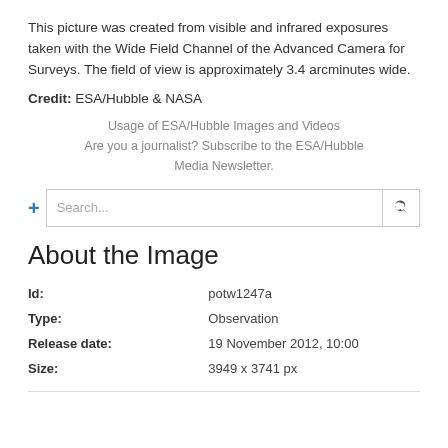This picture was created from visible and infrared exposures taken with the Wide Field Channel of the Advanced Camera for Surveys. The field of view is approximately 3.4 arcminutes wide.
Credit: ESA/Hubble & NASA
Usage of ESA/Hubble Images and Videos
Are you a journalist? Subscribe to the ESA/Hubble Media Newsletter.
About the Image
| Field | Value |
| --- | --- |
| Id: | potw1247a |
| Type: | Observation |
| Release date: | 19 November 2012, 10:00 |
| Size: | 3949 x 3741 px |